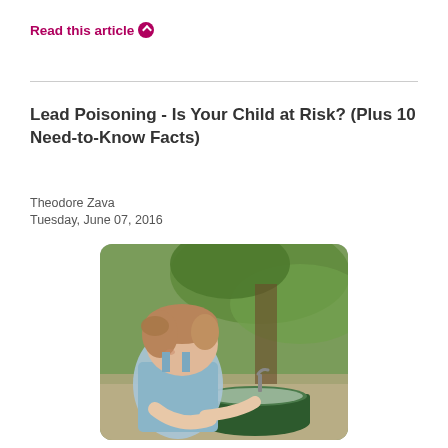Read this article ❯
Lead Poisoning - Is Your Child at Risk? (Plus 10 Need-to-Know Facts)
Theodore Zava
Tuesday, June 07, 2016
[Figure (photo): A young girl drinking from an outdoor water fountain, viewed from the side, with green blurred background and a metal spout visible.]